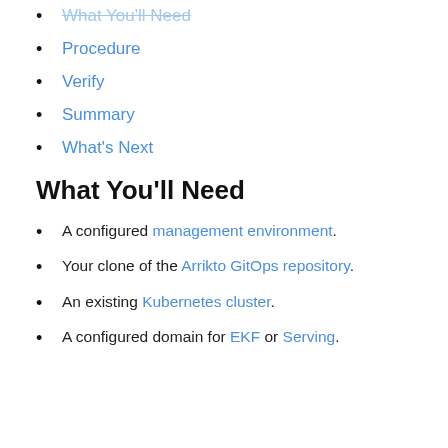What You'll Need
Procedure
Verify
Summary
What's Next
What You'll Need
A configured management environment.
Your clone of the Arrikto GitOps repository.
An existing Kubernetes cluster.
A configured domain for EKF or Serving.